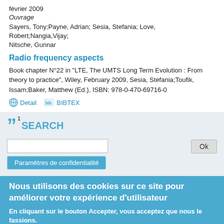février 2009
Ouvrage
Sayers, Tony;Payne, Adrian; Sesia, Stefania; Love, Robert;Nangia,Vijay; Nitsche, Gunnar
Radio frequency aspects
Book chapter N°22 in "LTE, The UMTS Long Term Evolution : From theory to practice", Wiley, February 2009, Sesia, Stefania;Toufik, Issam;Baker, Matthew (Ed.), ISBN: 978-0-470-69716-0
Detail   BIBTEX
[Figure (screenshot): Search interface section with large quote mark with superscript 1, SEARCH label, Ok button, and text input field. Below is a Paramètres de confidentialité button.]
Nous utilisons des cookies sur ce site pour améliorer votre expérience d'utilisateur
En cliquant sur le bouton Accepter, vous acceptez que nous le fassions.
En savoir plus
Accepter   Non, merci.